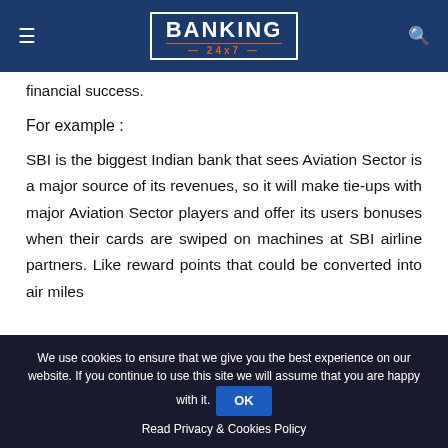BANKING 24x7
financial success.
For example :
SBI is the biggest Indian bank that sees Aviation Sector is a major source of its revenues, so it will make tie-ups with major Aviation Sector players and offer its users bonuses when their cards are swiped on machines at SBI airline partners. Like reward points that could be converted into air miles
We use cookies to ensure that we give you the best experience on our website. If you continue to use this site we will assume that you are happy with it. OK
Read Privacy & Cookies Policy